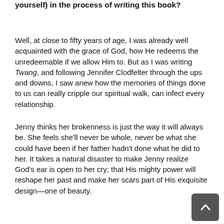yourself) in the process of writing this book?
Well, at close to fifty years of age, I was already well acquainted with the grace of God, how He redeems the unredeemable if we allow Him to. But as I was writing Twang, and following Jennifer Clodfelter through the ups and downs, I saw anew how the memories of things done to us can really cripple our spiritual walk, can infect every relationship.
Jenny thinks her brokenness is just the way it will always be. She feels she'll never be whole, never be what she could have been if her father hadn't done what he did to her. It takes a natural disaster to make Jenny realize God's ear is open to her cry; that His mighty power will reshape her past and make her scars part of His exquisite design—one of beauty.